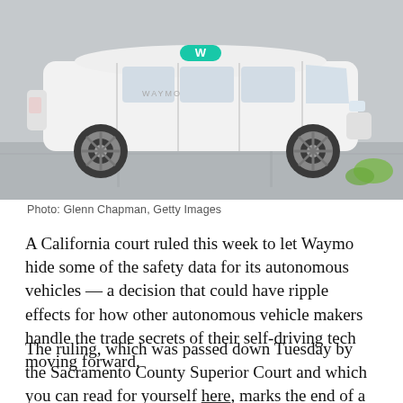[Figure (photo): A white Waymo branded minivan (Chrysler Pacifica) parked, shown from the side with a teal Waymo logo on top and door.]
Photo: Glenn Chapman, Getty Images
A California court ruled this week to let Waymo hide some of the safety data for its autonomous vehicles — a decision that could have ripple effects for how other autonomous vehicle makers handle the trade secrets of their self-driving tech moving forward.
The ruling, which was passed down Tuesday by the Sacramento County Superior Court and which you can read for yourself here, marks the end of a short, bitter legal battle kicked off by Waymo last month. The Alphabet-owned company sued the state's Department of Motor Vehicles to prevent the agency from disclosing proprietary details about